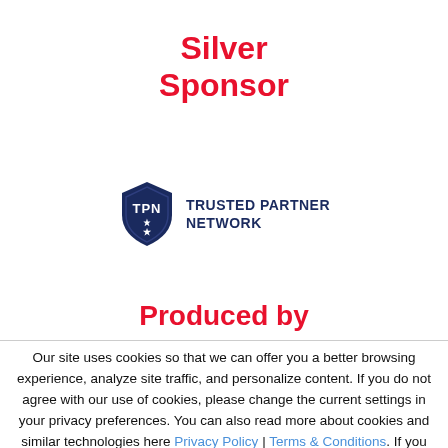Silver Sponsor
[Figure (logo): Trusted Partner Network (TPN) logo: shield with TPN initials and a star, next to text 'TRUSTED PARTNER NETWORK']
Produced by
Our site uses cookies so that we can offer you a better browsing experience, analyze site traffic, and personalize content. If you do not agree with our use of cookies, please change the current settings in your privacy preferences. You can also read more about cookies and similar technologies here Privacy Policy | Terms & Conditions. If you continue to use this site, you consent to our use of cookies as they are currently set.